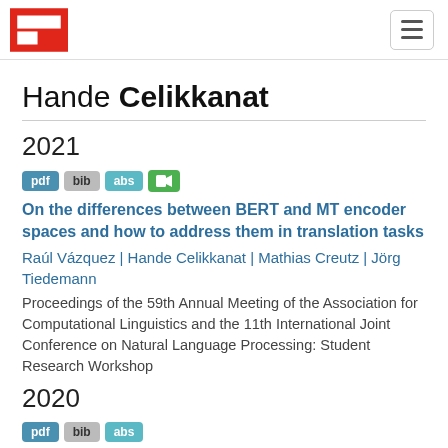Hande Celikkanat — site header with logo and navigation toggle
Hande Celikkanat
2021
pdf | bib | abs | video
On the differences between BERT and MT encoder spaces and how to address them in translation tasks
Raúl Vázquez | Hande Celikkanat | Mathias Creutz | Jörg Tiedemann
Proceedings of the 59th Annual Meeting of the Association for Computational Linguistics and the 11th International Joint Conference on Natural Language Processing: Student Research Workshop
2020
pdf | bib | abs